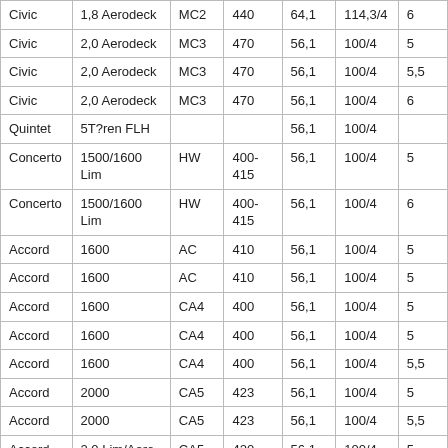| Civic | 1,8 Aerodeck | MC2 | 440 | 64,1 | 114,3/4 | 6 |
| Civic | 2,0 Aerodeck | MC3 | 470 | 56,1 | 100/4 | 5 |
| Civic | 2,0 Aerodeck | MC3 | 470 | 56,1 | 100/4 | 5,5 |
| Civic | 2,0 Aerodeck | MC3 | 470 | 56,1 | 100/4 | 6 |
| Quintet | 5T?ren FLH |  |  | 56,1 | 100/4 |  |
| Concerto | 1500/1600 Lim | HW | 400-415 | 56,1 | 100/4 | 5 |
| Concerto | 1500/1600 Lim | HW | 400-415 | 56,1 | 100/4 | 6 |
| Accord | 1600 | AC | 410 | 56,1 | 100/4 | 5 |
| Accord | 1600 | AC | 410 | 56,1 | 100/4 | 5 |
| Accord | 1600 | CA4 | 400 | 56,1 | 100/4 | 5 |
| Accord | 1600 | CA4 | 400 | 56,1 | 100/4 | 5 |
| Accord | 1600 | CA4 | 400 | 56,1 | 100/4 | 5,5 |
| Accord | 2000 | CA5 | 423 | 56,1 | 100/4 | 5 |
| Accord | 2000 | CA5 | 423 | 56,1 | 100/4 | 5,5 |
| Accord | 2,0 Lim/Aero- | CA5 | 420- | 56,1 | 100/4 | 5 |